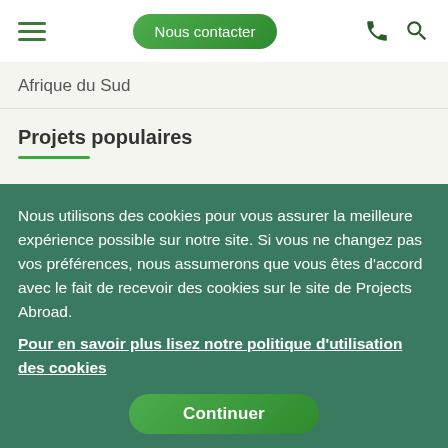Nous contacter
Afrique du Sud
Projets populaires
Aide à l'enfance
Écovolontariat & Environnement
Santé & Médecine
Chantiers jeunes internationaux
Nous utilisons des cookies pour vous assurer la meilleure expérience possible sur notre site. Si vous ne changez pas vos préférences, nous assumerons que vous êtes d'accord avec le fait de recevoir des cookies sur le site de Projects Abroad.
Pour en savoir plus lisez notre politique d'utilisation des cookies
Continuer